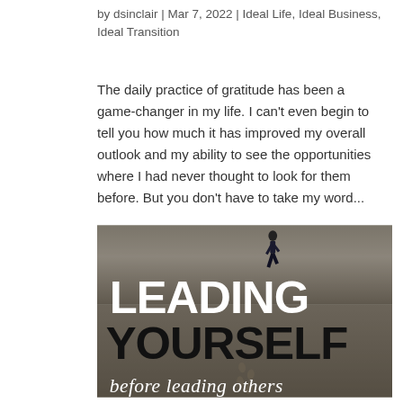by dsinclair | Mar 7, 2022 | Ideal Life, Ideal Business, Ideal Transition
The daily practice of gratitude has been a game-changer in my life. I can't even begin to tell you how much it has improved my overall outlook and my ability to see the opportunities where I had never thought to look for them before. But you don't have to take my word...
[Figure (illustration): Motivational image with a person walking on a sandy beach leaving footprints. Large bold text reads 'LEADING YOURSELF' and italic text below reads 'before leading others'.]